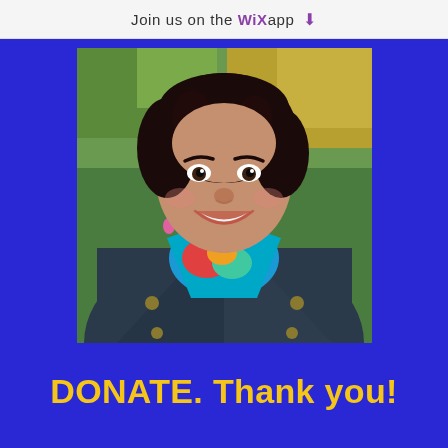Join us on the WiX app ⬇
[Figure (photo): Portrait photo of a smiling woman with dark curly hair wearing a denim jacket and a colorful blue and multicolored patterned scarf, photographed outdoors with autumn foliage background]
DONATE. Thank you!